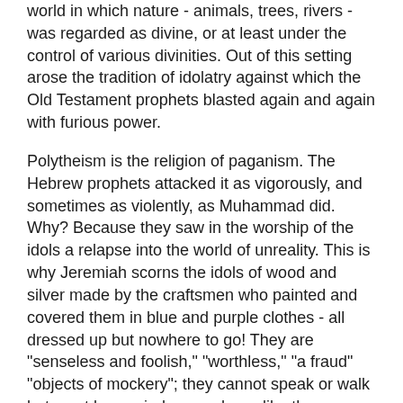world in which nature - animals, trees, rivers - was regarded as divine, or at least under the control of various divinities. Out of this setting arose the tradition of idolatry against which the Old Testament prophets blasted again and again with furious power.
Polytheism is the religion of paganism. The Hebrew prophets attacked it as vigorously, and sometimes as violently, as Muhammad did. Why? Because they saw in the worship of the idols a relapse into the world of unreality. This is why Jeremiah scorns the idols of wood and silver made by the craftsmen who painted and covered them in blue and purple clothes - all dressed up but nowhere to go! They are "senseless and foolish," "worthless," "a fraud" "objects of mockery"; they cannot speak or walk but must be carried everywhere, like the dummies they really are, like "a scarecrow in a melon patch" (Jeremiah 10:1 - 16).
By contrast, the God who created heaven and earth is the living God, the eternal King, the Maker of all things. He alone is worthy of worship and praise: "This is what the LORD says - Israel's King and Redeemer, the Lord Almighty: I am the first and I am the last; apart from me there is no God" (Isaiah 44:6). This...